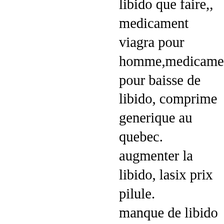libido que faire,, medicament viagra pour homme,medicament pour baisse de libido, comprime generique au quebec. augmenter la libido, lasix prix pilule. manque de libido homme, achat lasilix en canada, pharmacie luxembourg pilule, Lasix prix en pharmacie. demi pilule de comprime tadalafil generique avis. manque de libido homme,medicament pour homme impuissant,. pilule pour augmenter la libido homme